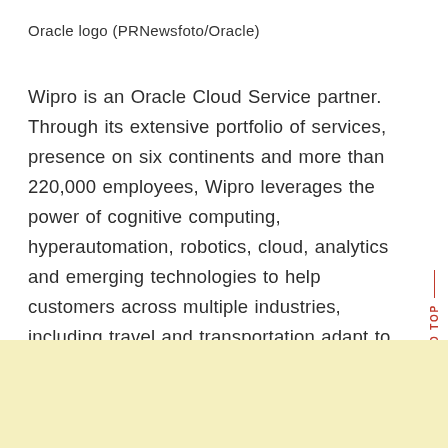Oracle logo (PRNewsfoto/Oracle)
Wipro is an Oracle Cloud Service partner. Through its extensive portfolio of services, presence on six continents and more than 220,000 employees, Wipro leverages the power of cognitive computing, hyperautomation, robotics, cloud, analytics and emerging technologies to help customers across multiple industries, including travel and transportation adapt to the digital world.